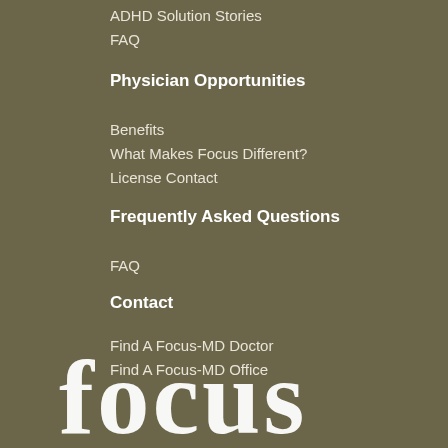ADHD Solution Stories
FAQ
Physician Opportunities
Benefits
What Makes Focus Different?
License Contact
Frequently Asked Questions
FAQ
Contact
Find A Focus-MD Doctor
Find A Focus-MD Office
[Figure (logo): Focus-MD logo in large serif white text on olive/khaki background]